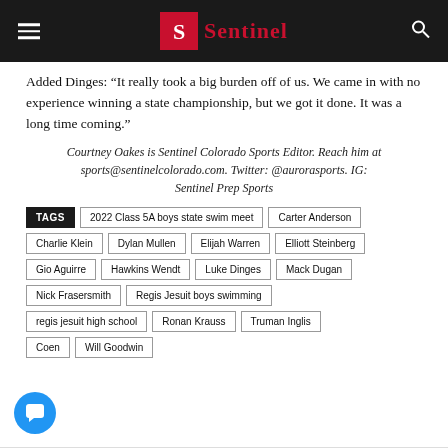Sentinel
Added Dinges: “It really took a big burden off of us. We came in with no experience winning a state championship, but we got it done. It was a long time coming.”
Courtney Oakes is Sentinel Colorado Sports Editor. Reach him at sports@sentinelcolorado.com. Twitter: @aurorasports. IG: Sentinel Prep Sports
TAGS  2022 Class 5A boys state swim meet  Carter Anderson  Charlie Klein  Dylan Mullen  Elijah Warren  Elliott Steinberg  Gio Aguirre  Hawkins Wendt  Luke Dinges  Mack Dugan  Nick Frasersmith  Regis Jesuit boys swimming  regis jesuit high school  Ronan Krauss  Truman Inglis  Coen  Will Goodwin